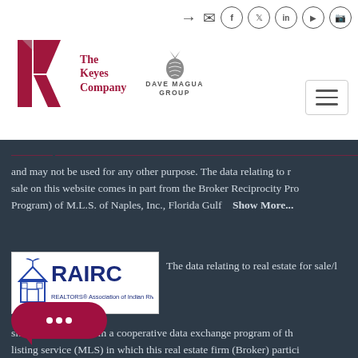[Figure (logo): The Keyes Company logo with stylized red K and text 'The Keyes Company', and Dave Magua Group logo with pineapple icon]
[Figure (infographic): Social media icons: sign-in, mail, Facebook, Twitter, LinkedIn, YouTube, Instagram in circles at top right]
and may not be used for any other purpose. The data relating to real estate for sale on this website comes in part from the Broker Reciprocity Program (IDX Program) of M.L.S. of Naples, Inc., Florida Gulf
Show More...
[Figure (logo): RAIRC - REALTORS Association of Indian River County, Inc. logo with house icon]
The data relating to real estate for sale/lease on this site come in part from a cooperative data exchange program of the multiple listing service (MLS) in which this real estate firm (Broker) participates. It is provided exclusively for the user's personal non-commercial use, and may not be used for any purpose other than to identify properties that the user may be interested in purchasing or leasing. The properties displayed may not be all the properties in the MLS's database, or all
Show More...